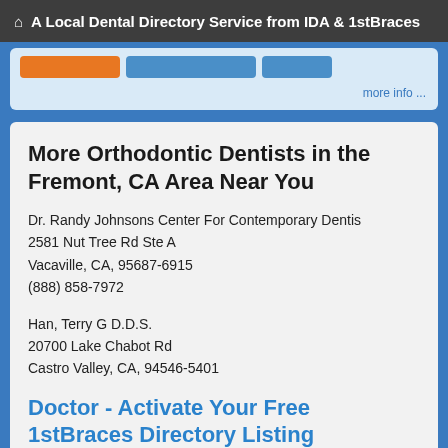A Local Dental Directory Service from IDA & 1stBraces
[Figure (screenshot): Partial view of a web card with orange and blue buttons and a 'more info ...' link]
More Orthodontic Dentists in the Fremont, CA Area Near You
Dr. Randy Johnsons Center For Contemporary Dentis
2581 Nut Tree Rd Ste A
Vacaville, CA, 95687-6915
(888) 858-7972
Han, Terry G D.D.S.
20700 Lake Chabot Rd
Castro Valley, CA, 94546-5401
Doctor - Activate Your Free 1stBraces Directory Listing